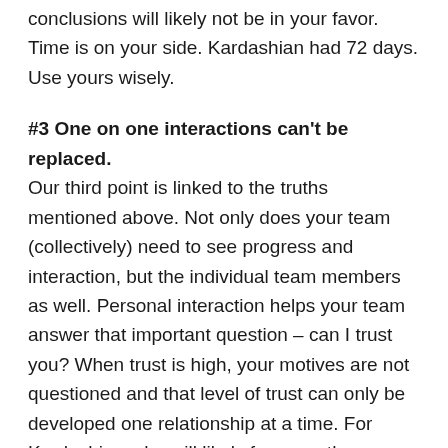conclusions will likely not be in your favor. Time is on your side. Kardashian had 72 days. Use yours wisely.
#3 One on one interactions can't be replaced.
Our third point is linked to the truths mentioned above. Not only does your team (collectively) need to see progress and interaction, but the individual team members as well. Personal interaction helps your team answer that important question – can I trust you? When trust is high, your motives are not questioned and that level of trust can only be developed one relationship at a time. For Kardashian, she will likely focus on those people closest to her to help them understand her perspective on the public rumor mill. And the public will probably hear from those speaking on her behalf soon. The public doesn't really know her and will make their conclusions based on reasons #1 and #2 in our